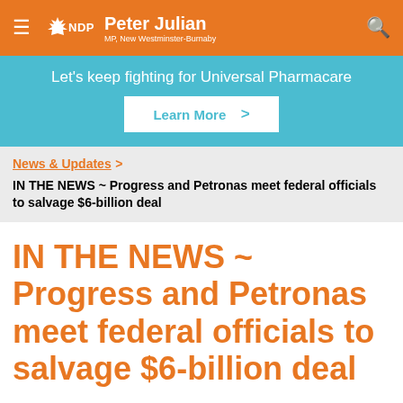NDP — Peter Julian, MP, New Westminster-Burnaby
Let's keep fighting for Universal Pharmacare
Learn More >
News & Updates >
IN THE NEWS ~ Progress and Petronas meet federal officials to salvage $6-billion deal
IN THE NEWS ~ Progress and Petronas meet federal officials to salvage $6-billion deal